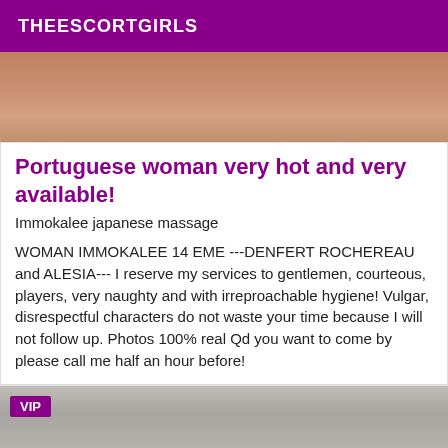THEESCORTGIRLS
[Figure (photo): Cropped photo of a woman in lingerie, warm skin tones, partial view of torso]
Portuguese woman very hot and very available!
Immokalee japanese massage
WOMAN IMMOKALEE 14 EME ---DENFERT ROCHEREAU and ALESIA--- I reserve my services to gentlemen, courteous, players, very naughty and with irreproachable hygiene! Vulgar, disrespectful characters do not waste your time because I will not follow up. Photos 100% real Qd you want to come by please call me half an hour before!
[Figure (photo): Photo of spa/massage items including towels, stones, oil bottle, and bamboo/plant elements, with VIP badge overlay]